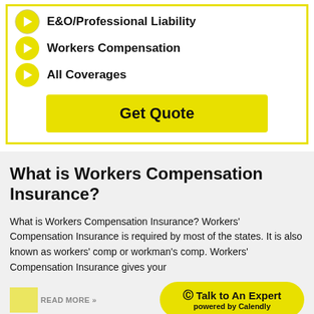E&O/Professional Liability
Workers Compensation
All Coverages
Get Quote
What is Workers Compensation Insurance?
What is Workers Compensation Insurance? Workers' Compensation Insurance is required by most of the states. It is also known as workers' comp or workman's comp. Workers' Compensation Insurance gives your
READ MORE »
Talk to An Expert powered by Calendly